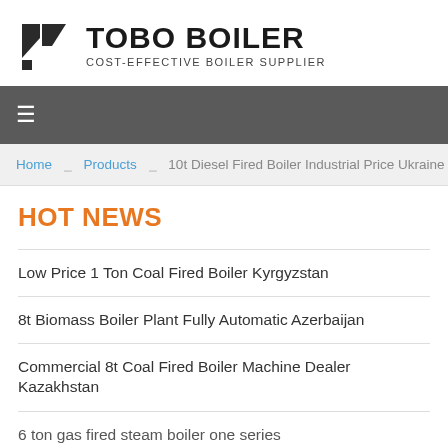[Figure (logo): TOBO BOILER logo with geometric arrow/flag icon on the left and bold text 'TOBO BOILER' with subtitle 'COST-EFFECTIVE BOILER SUPPLIER']
≡ (hamburger menu navigation bar)
Home > Products > 10t Diesel Fired Boiler Industrial Price Ukraine
HOT NEWS
Low Price 1 Ton Coal Fired Boiler Kyrgyzstan
8t Biomass Boiler Plant Fully Automatic Azerbaijan
Commercial 8t Coal Fired Boiler Machine Dealer Kazakhstan
6 ton gas fired steam boiler one series